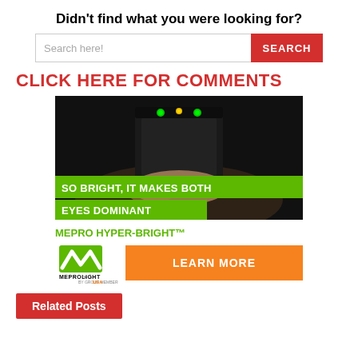Didn't find what you were looking for?
Search here! [SEARCH button]
CLICK HERE FOR COMMENTS
[Figure (photo): Close-up photo of a handgun sight being held by a hand, with green tritium dots visible on the sight. Overlaid green banner text reads 'SO BRIGHT, IT MAKES BOTH EYES DOMINANT'. Below is 'MEPRO HYPER-BRIGHT™' in green, the Meprolight USA logo, and a 'LEARN MORE' orange button.]
Related Posts